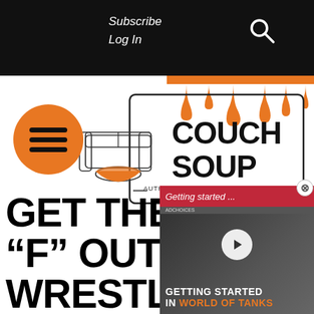Subscribe
Log In
[Figure (logo): Couch Soup logo with couch and soup bowl illustration. Text: COUCH SOUP AUTHENTIC & UNFILTERED POP-CULTURE]
[Figure (illustration): Orange drip graphic in top right corner]
[Figure (other): Orange circle hamburger menu button]
[Figure (screenshot): Getting started ... ad overlay with World of Tanks video ad. Text: GETTING STARTED IN WORLD OF TANKS]
GET THE “F” OUT OF WRESTLING